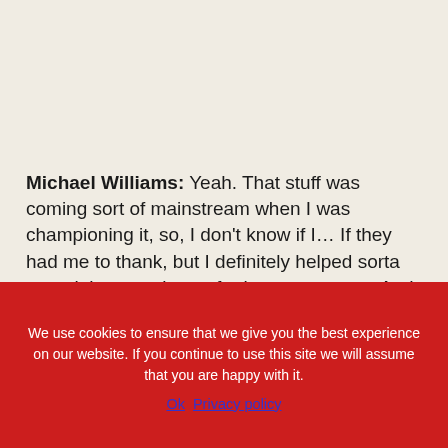Michael Williams: Yeah. That stuff was coming sort of mainstream when I was championing it, so, I don't know if I… If they had me to thank, but I definitely helped sorta propel that, you know, for better or worse. And, yeah, the denim factory, which is no longer… Is called the White Oak factory. But yeah, that stuff… You know, I think part of my
We use cookies to ensure that we give you the best experience on our website. If you continue to use this site we will assume that you are happy with it.
Ok   Privacy policy